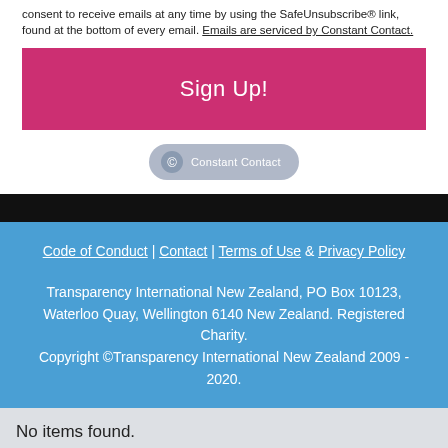consent to receive emails at any time by using the SafeUnsubscribe® link, found at the bottom of every email. Emails are serviced by Constant Contact.
Sign Up!
[Figure (logo): Constant Contact badge/logo button]
Code of Conduct | Contact | Terms of Use & Privacy Policy
Transparency International New Zealand, PO Box 10123, Waterloo Quay, Wellington 6140 New Zealand. Registered Charity.
Copyright ©Transparency International New Zealand 2009 - 2020.
No items found.